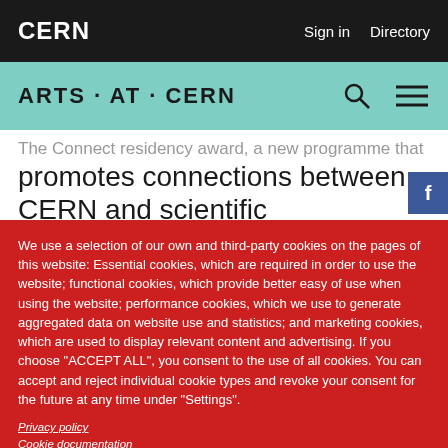CERN   Sign in   Directory
ARTS · AT · CERN
The Connect residency award, a new programme that promotes connections between CERN and scientific institutions in South Africa, India, Chile and Brazil
We use a selection of our own and third-party cookies on the pages of this website: Essential cookies, which are required in order to use the website; functional cookies, which provide better easy of use when using the website; performance cookies, which we use to generate aggregated data on website use and statistics; and marketing cookies, which are used to display relevant content and advertising. If you choose "ACCEPT ALL", you consent to the use of all cookies. You can accept and reject individual cookie types and revoke your consent for the future at any time under "Settings".
Privacy policy
Cookie documentation
Settings   Accept All